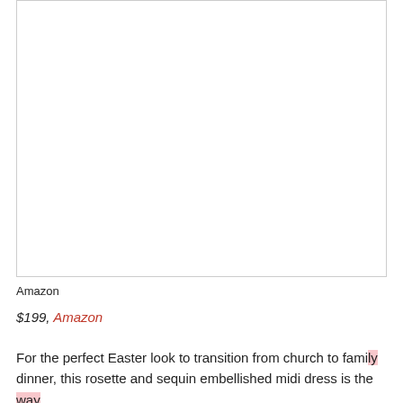[Figure (photo): Empty white image box with a thin gray border, representing a product photo placeholder for a dress item.]
Amazon
$199, Amazon
For the perfect Easter look to transition from church to family dinner, this rosette and sequin embellished midi dress is the way